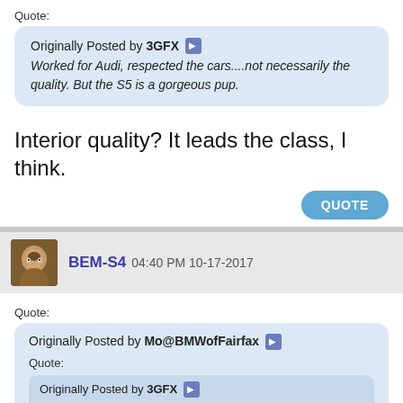Quote:
Originally Posted by 3GFX
Worked for Audi, respected the cars....not necessarily the quality. But the S5 is a gorgeous pup.
Interior quality? It leads the class, I think.
QUOTE
BEM-S4 04:40 PM 10-17-2017
Quote:
Originally Posted by Mo@BMWofFairfax
Quote:
Originally Posted by 3GFX
Worked for Audi, respected the cars....not necessarily the quality. But the S5 is a gorgeous pup.